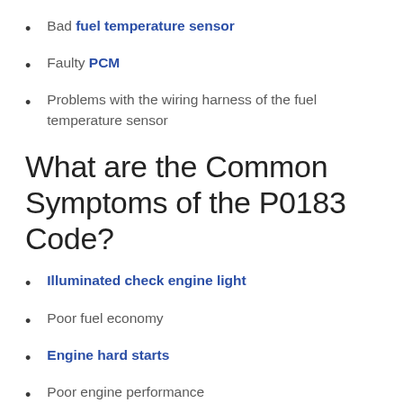Bad fuel temperature sensor
Faulty PCM
Problems with the wiring harness of the fuel temperature sensor
What are the Common Symptoms of the P0183 Code?
Illuminated check engine light
Poor fuel economy
Engine hard starts
Poor engine performance